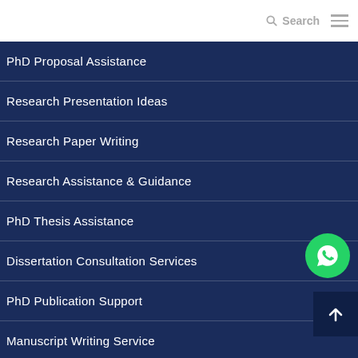Search
PhD Proposal Assistance
Research Presentation Ideas
Research Paper Writing
Research Assistance & Guidance
PhD Thesis Assistance
Dissertation Consultation Services
PhD Publication Support
Manuscript Writing Service